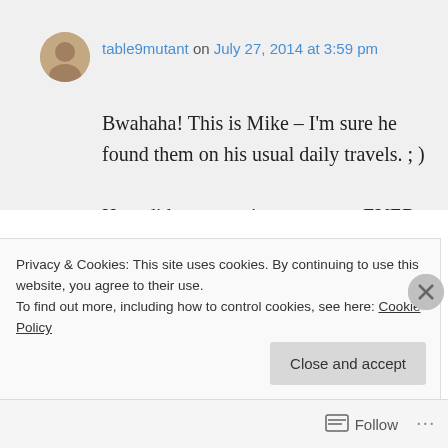table9mutant on July 27, 2014 at 3:59 pm
Bwahaha! This is Mike – I'm sure he found them on his usual daily travels. ; )

How did my most innocent post EVER turn dirty?! Lol!!
Privacy & Cookies: This site uses cookies. By continuing to use this website, you agree to their use.
To find out more, including how to control cookies, see here: Cookie Policy
Close and accept
Follow